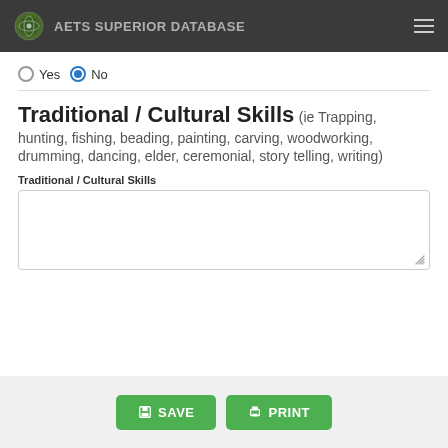AETS SUPERIOR DATABASE
Yes  No (No selected)
Traditional / Cultural Skills (ie Trapping, hunting, fishing, beading, painting, carving, woodworking, drumming, dancing, elder, ceremonial, story telling, writing)
Traditional / Cultural Skills
(empty textarea)
SAVE   PRINT